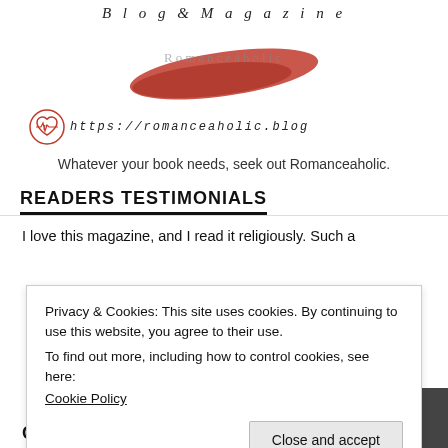Blog & Magazine
[Figure (logo): Romanceaholic logo with red brushstroke paint mark and heart icon with URL https://romanceaholic.blog]
Whatever your book needs, seek out Romanceaholic.
READERS TESTIMONIALS
I love this magazine, and I read it religiously. Such a
Privacy & Cookies: This site uses cookies. By continuing to use this website, you agree to their use.
To find out more, including how to control cookies, see here:
Cookie Policy
Close and accept
COMING SOON!